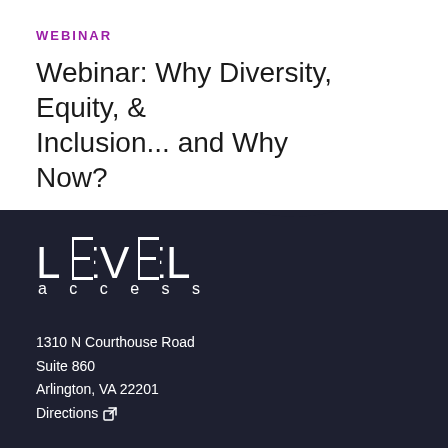WEBINAR
Webinar: Why Diversity, Equity, & Inclusion... and Why Now?
[Figure (logo): Level Access logo in white on dark navy background, with stylized 'LEVEL' text and 'access' below]
1310 N Courthouse Road
Suite 860
Arlington, VA 22201
Directions ↗